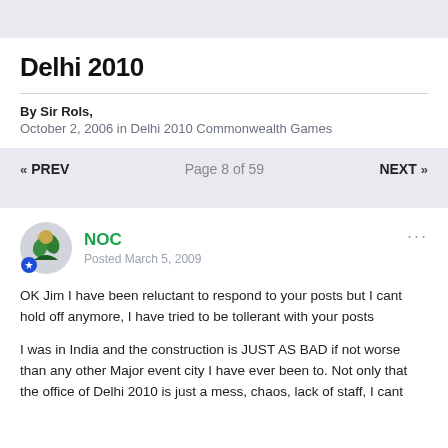Delhi 2010
By Sir Rols,
October 2, 2006 in Delhi 2010 Commonwealth Games
« PREV   Page 8 of 59   NEXT »
NOC
Posted March 5, 2009
OK Jim I have been reluctant to respond to your posts but I cant hold off anymore, I have tried to be tollerant with your posts
I was in India and the construction is JUST AS BAD if not worse than any other Major event city I have ever been to. Not only that the office of Delhi 2010 is just a mess, chaos, lack of staff, I cant